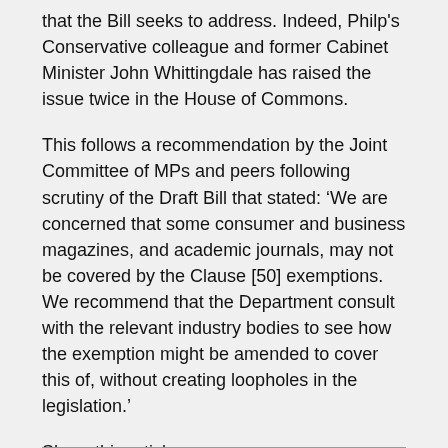that the Bill seeks to address. Indeed, Philp's Conservative colleague and former Cabinet Minister John Whittingdale has raised the issue twice in the House of Commons.
This follows a recommendation by the Joint Committee of MPs and peers following scrutiny of the Draft Bill that stated: ‘We are concerned that some consumer and business magazines, and academic journals, may not be covered by the Clause [50] exemptions. We recommend that the Department consult with the relevant industry bodies to see how the exemption might be amended to cover this of, without creating loopholes in the legislation.’
Share this article